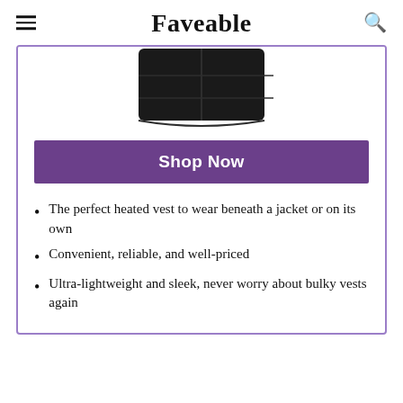Faveable
[Figure (photo): Partial view of a black heated vest product, cropped at top, showing the lower portion of the vest with stitching detail.]
Shop Now
The perfect heated vest to wear beneath a jacket or on its own
Convenient, reliable, and well-priced
Ultra-lightweight and sleek, never worry about bulky vests again